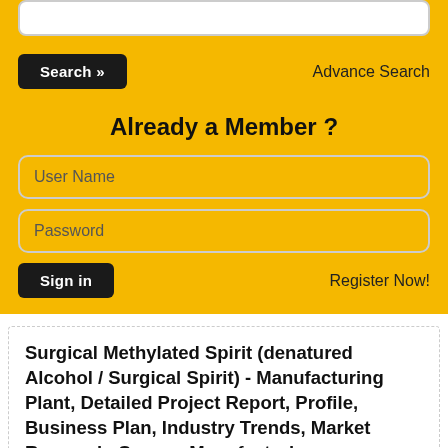[Figure (screenshot): Search bar input field at top]
Search »
Advance Search
Already a Member ?
User Name
Password
Sign in
Register Now!
Surgical Methylated Spirit (denatured Alcohol / Surgical Spirit) - Manufacturing Plant, Detailed Project Report, Profile, Business Plan, Industry Trends, Market Research, Survey, Manufacturing Process, Machinery, Raw Materials, Feasibility Study
Surgical Methylated Spirit is the special grade spirit, which is the mixture